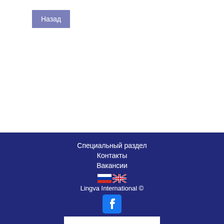Назад
Поиск
Специальный раздел
Контакты
Вакансии
Lingva International ©
Заказать звонок